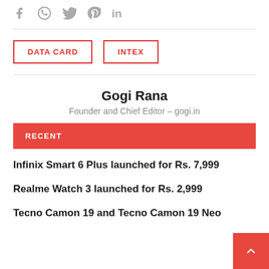[Figure (other): Social media share icons: Facebook, WhatsApp, Twitter, Pinterest, LinkedIn in gray]
DATA CARD
INTEX
Gogi Rana
Founder and Chief Editor – gogi.in
RECENT
Infinix Smart 6 Plus launched for Rs. 7,999
Realme Watch 3 launched for Rs. 2,999
Tecno Camon 19 and Tecno Camon 19 Neo